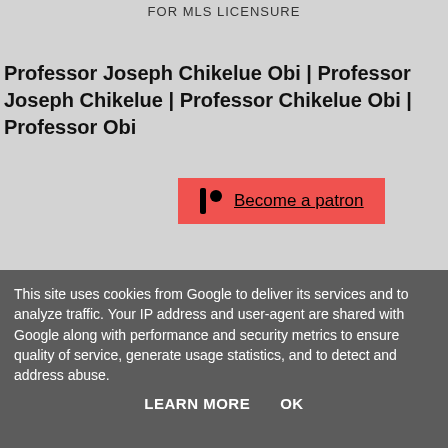FOR MLS LICENSURE
Professor Joseph Chikelue Obi | Professor Joseph Chikelue | Professor Chikelue Obi | Professor Obi
[Figure (other): Red Patreon button with logo icon and 'Become a patron' underlined link text]
This site uses cookies from Google to deliver its services and to analyze traffic. Your IP address and user-agent are shared with Google along with performance and security metrics to ensure quality of service, generate usage statistics, and to detect and address abuse.
LEARN MORE   OK